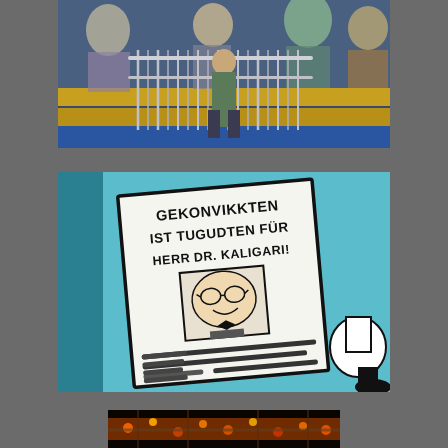[Figure (photo): Photo of people standing behind metal crowd-control barriers in front of a colorful illustrated mural/backdrop showing cartoon characters. One person is visible in the center of the image.]
[Figure (illustration): Close-up photo of a comic-style illustration/artwork on a blue background showing a newspaper or flyer with text 'GEKONVIKKTEN IST TUGUDTEN FÜR HERR DR. KALIGARI!' and a cartoon portrait below it, with simulated text lines beneath.]
[Figure (photo): Partially visible photo at the bottom of the page showing colorful fairground or carnival equipment with lights, partially cropped.]